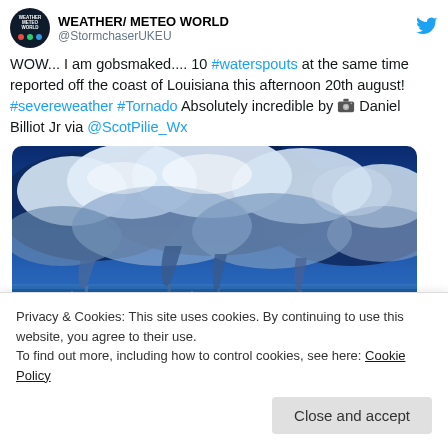WEATHER/ METEO WORLD @StormchaserUKEU
WOW... I am gobsmaked.... 10 #waterspouts at the same time reported off the coast of Louisiana this afternoon 20th august! #severeweather #Tornado Absolutely incredible by 📷 Daniel Billiot Jr via @ScotPilie_Wx
[Figure (photo): Dramatic photograph of waterspouts over the ocean off the Louisiana coast. Dark blue storm clouds fill the sky with white billowing clouds. Multiple waterspout funnels descend from the clouds to the water surface. The ocean is visible in the lower third of the image reflecting blue tones.]
Privacy & Cookies: This site uses cookies. By continuing to use this website, you agree to their use.
To find out more, including how to control cookies, see here: Cookie Policy